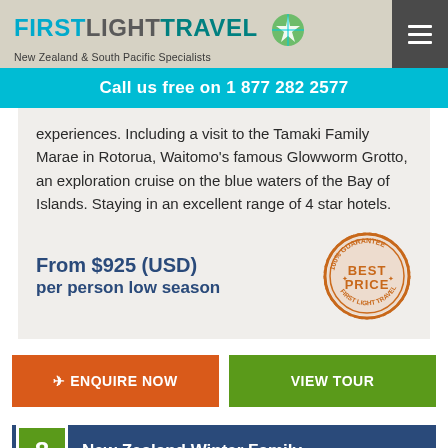FIRST LIGHT TRAVEL — New Zealand & South Pacific Specialists
Call us free on 1 877 282 2577
experiences. Including a visit to the Tamaki Family Marae in Rotorua, Waitomo's famous Glowworm Grotto, an exploration cruise on the blue waters of the Bay of Islands. Staying in an excellent range of 4 star hotels.
From $925 (USD) per person low season
[Figure (illustration): Orange circular stamp badge reading '100% GUARANTEE BEST PRICE FIRST LIGHT TRAVEL']
✈ ENQUIRE NOW
VIEW TOUR
8 New Zealand Winter Family